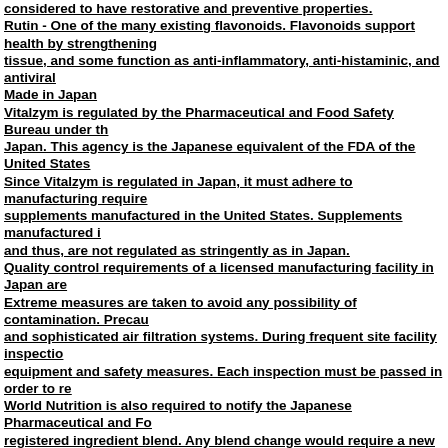considered to have restorative and preventive properties.
Rutin - One of the many existing flavonoids. Flavonoids support health by strengthening tissue, and some function as anti-inflammatory, anti-histaminic, and antiviral agents.
Made in Japan
Vitalzym is regulated by the Pharmaceutical and Food Safety Bureau under the Ministry of Health, Labour and Welfare of Japan. This agency is the Japanese equivalent of the FDA of the United States.
Since Vitalzym is regulated in Japan, it must adhere to manufacturing requirements that are much more stringent than those for dietary supplements manufactured in the United States. Supplements manufactured in the United States are classified as food, and thus, are not regulated as stringently as in Japan.
Quality control requirements of a licensed manufacturing facility in Japan are very thorough. Extreme measures are taken to avoid any possibility of contamination. Precautions include the use of sterile uniforms and sophisticated air filtration systems. During frequent site facility inspections, inspectors check ingredients, equipment and safety measures. Each inspection must be passed in order to remain a licensed manufacturer.
World Nutrition is also required to notify the Japanese Pharmaceutical and Food Safety Bureau of its registered ingredient blend. Any blend change would require a new registration. Ingredients are inspected before and after mixing to test adherence to the registered blend. In addition, all raw materials used in our manufacturing facility must be tested independently of the supplier for safety and potency. All facility records must be disclosed upon facility inspections.
These Japanese manufacturing guidelines unique to the manufacturing of Vitalzym help to ensure its utmost purity, potency and safety.*
Dosage
This dosage recommendation is for most users. The dosage recommended by your healthcare provider may differ. As a dietary supplement, take 3 capsules daily with water. Your healthcare professional may suggest a different dosage.
Warning: If you are currently taking prescription drugs, consult your healthcare practitioner before using.